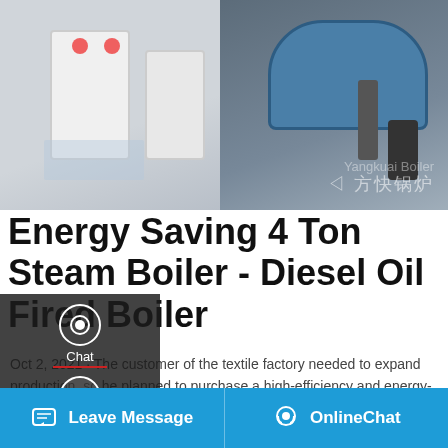[Figure (photo): Industrial boilers / steam boilers in a factory/warehouse setting. Left side shows white rectangular boiler units on a floor; right side shows a cylindrical blue/grey boiler unit. A watermark with Chinese characters (方快锅炉) is visible in the lower right.]
Energy Saving 4 Ton Steam Boiler - Diesel Oil Fired Boiler
Oct 2, 2021 · The customer of the textile factory needed to expand production, so he planned to purchase a high-efficiency and energy-saving gas steam boiler. After a detailed understanding of the actual needs of the production line, the engineer calculated that the 4 ton steam boiler is a very cost-effective product for the customer.
[Figure (screenshot): WhatsApp Save Stickers promotion banner with pink/purple gradient background, showing WhatsApp and WeChat sticker icons]
Leave Message   OnlineChat